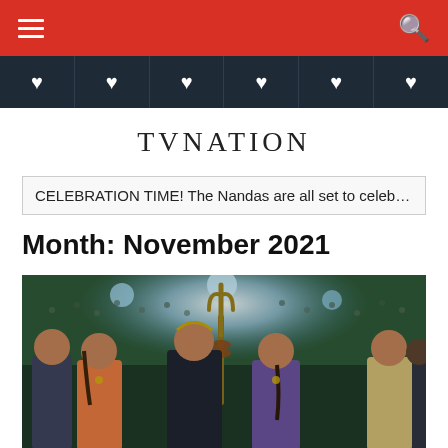TVNATION website navigation bar with hamburger menu and search icon
Navigation icons bar with 6 heart icons
TVNATION
CELEBRATION TIME! The Nandas are all set to celebrate Dah
Month: November 2021
[Figure (photo): A group of people at a large event or festival, with a person dressed as Lord Shiva carrying a trishul (trident), surrounded by a large crowd with colorful lights in the background.]